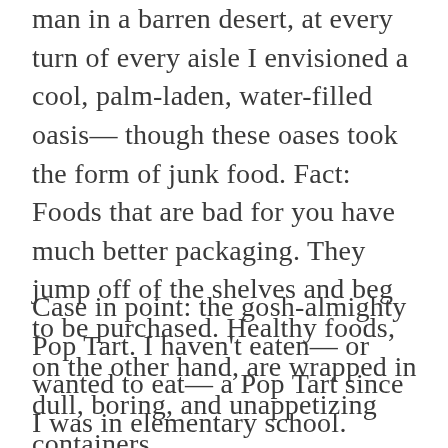man in a barren desert, at every turn of every aisle I envisioned a cool, palm-laden, water-filled oasis— though these oases took the form of junk food. Fact: Foods that are bad for you have much better packaging. They jump off of the shelves and beg to be purchased. Healthy foods, on the other hand, are wrapped in dull, boring, and unappetizing containers.
Case in point: the gosh-almighty Pop Tart. I haven't eaten— or wanted to eat— a Pop Tart since I was in elementary school. Yesterday I was debating whether I should rip the box open and eat a few on the way to the cash